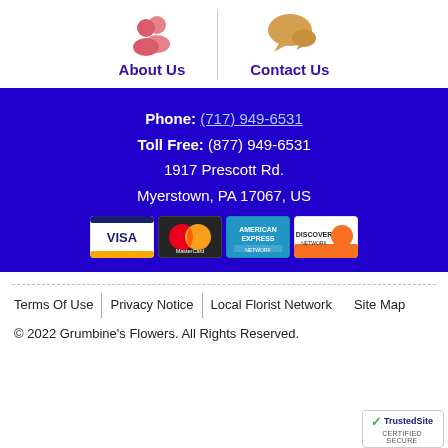[Figure (illustration): Navigation icons: About Us (pink people icon) and Contact Us (orange speech bubble icon) with a vertical divider]
Phone: (717) 949-6531
Toll Free: (877) 949-6531
1917 Prescott Rd.
Myerstown, PA 17067, US
[Figure (illustration): Payment card logos: Visa, MasterCard, American Express, Discover]
Terms Of Use | Privacy Notice | Local Florist Network | Site Map
© 2022 Grumbine's Flowers. All Rights Reserved.
[Figure (logo): TrustedSite CERTIFIED SECURE badge]